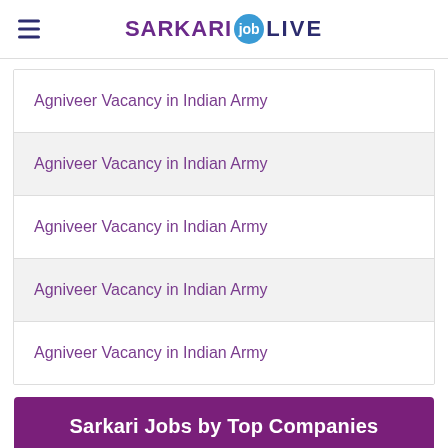SARKARI job LIVE
Agniveer Vacancy in Indian Army
Agniveer Vacancy in Indian Army
Agniveer Vacancy in Indian Army
Agniveer Vacancy in Indian Army
Agniveer Vacancy in Indian Army
Sarkari Jobs by Top Companies